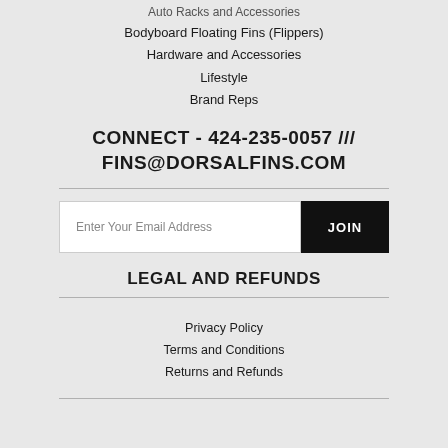Auto Racks and Accessories
Bodyboard Floating Fins (Flippers)
Hardware and Accessories
Lifestyle
Brand Reps
CONNECT - 424-235-0057 /// FINS@DORSALFINS.COM
Enter Your Email Address
JOIN
LEGAL AND REFUNDS
Privacy Policy
Terms and Conditions
Returns and Refunds